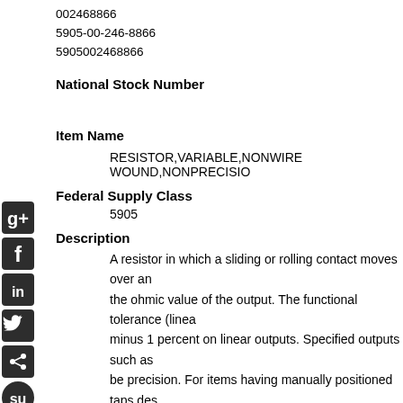002468866
5905-00-246-8866
5905002468866
National Stock Number
Item Name
RESISTOR,VARIABLE,NONWIRE WOUND,NONPRECISIO
Federal Supply Class
5905
Description
A resistor in which a sliding or rolling contact moves over an the ohmic value of the output. The functional tolerance (linea minus 1 percent on linear outputs. Specified outputs such as be precision. For items having manually positioned taps des RESISTOR, ADJUSTABLE. For items with step by step varia